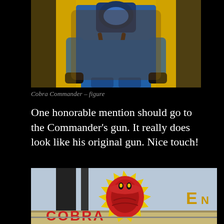[Figure (photo): Close-up photo of a Cobra Commander action figure in blue uniform with harness, packaged in a yellow box]
Cobra Commander – figure
One honorable mention should go to the Commander's gun. It really does look like his original gun. Nice touch!
[Figure (photo): Close-up photo of a Cobra GI Joe toy packaging showing the Cobra logo (snake head in red and yellow starburst) with partial text reading COBRA and EN visible]